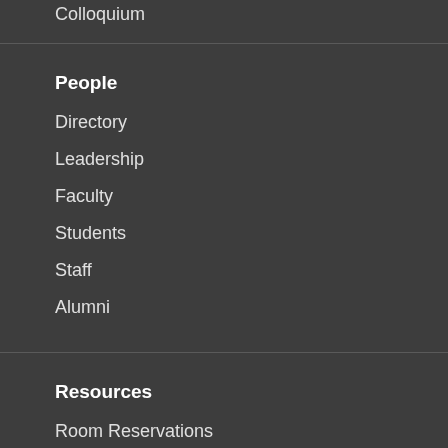Colloquium
People
Directory
Leadership
Faculty
Students
Staff
Alumni
Resources
Room Reservations
My EECS Info